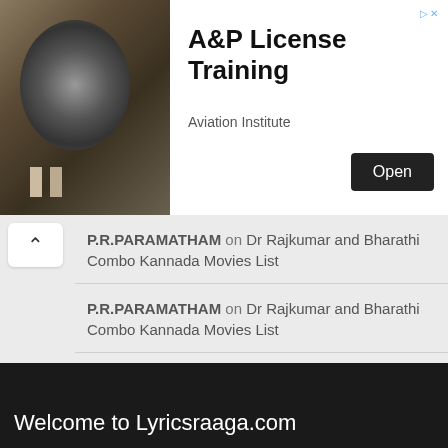[Figure (screenshot): Advertisement banner for A&P License Training by Aviation Institute, showing jet engine photo on left and Open button on right]
P.R.PARAMATHAM on Dr Rajkumar and Bharathi Combo Kannada Movies List
P.R.PARAMATHAM on Dr Rajkumar and Bharathi Combo Kannada Movies List
varsha on Innastu Bekenna Hrudayakke Rama Lyrics
Shravanthi on Brahma Vishnu Shiva Ede Haalu Kudidaro Lyrics
Tapas Ganguly on Beladingalaagi Baa Lyrics | Huliya Haalina Mevu
Welcome to Lyricsraaga.com